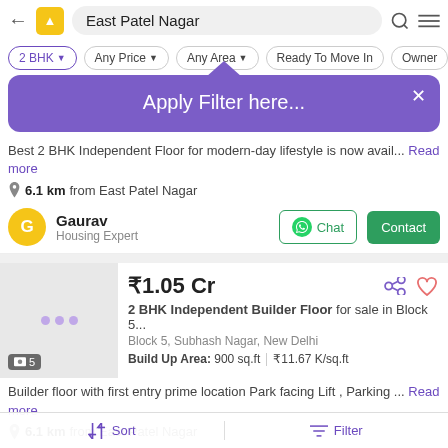East Patel Nagar
2 BHK | Any Price | Any Area | Ready To Move In | Owner
[Figure (screenshot): Purple dropdown tooltip saying 'Apply Filter here...' with close button]
Best 2 BHK Independent Floor for modern-day lifestyle is now avail... Read more
6.1 km from East Patel Nagar
Gaurav
Housing Expert
₹1.05 Cr
2 BHK Independent Builder Floor for sale in Block 5...
Block 5, Subhash Nagar, New Delhi
Build Up Area: 900 sq.ft  ₹11.67 K/sq.ft
Builder floor with first entry prime location Park facing Lift , Parking ... Read more
6.1 km from East Patel Nagar